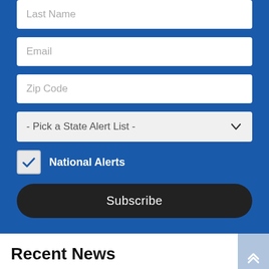[Figure (screenshot): Web form on blue background with Last Name input field (partially visible at top), Email input field, Zip Code input field, Pick a State Alert List dropdown, National Alerts checkbox (checked), and Subscribe button]
Recent News
MPP Recognizes Cannabis Culture Day With